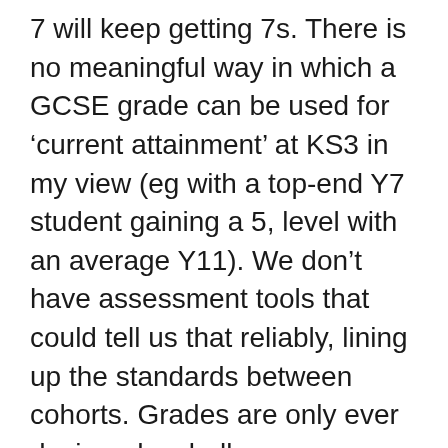7 will keep getting 7s. There is no meaningful way in which a GCSE grade can be used for 'current attainment' at KS3 in my view (eg with a top-end Y7 student gaining a 5, level with an average Y11). We don't have assessment tools that could tell us that reliably, lining up the standards between cohorts. Grades are only ever designed as bell-curve markers for a cohort, not steps in a ladder. That's one of the flaws with levels – the ladder illusion. We're trying to avoid that. It's